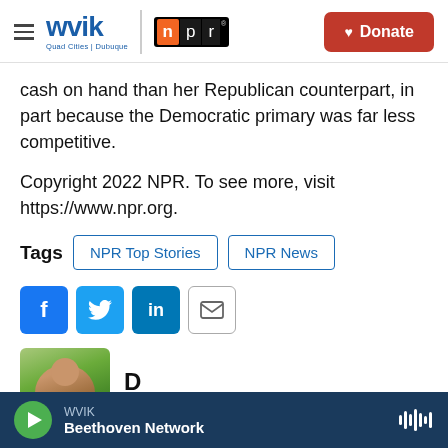WVIK Quad Cities | Dubuque — npr — Donate
cash on hand than her Republican counterpart, in part because the Democratic primary was far less competitive.
Copyright 2022 NPR. To see more, visit https://www.npr.org.
Tags  NPR Top Stories  NPR News
[Figure (other): Social share buttons: Facebook, Twitter, LinkedIn, Email]
[Figure (photo): Partial author photo thumbnail, name partially visible]
WVIK  Beethoven Network  (audio player bar)